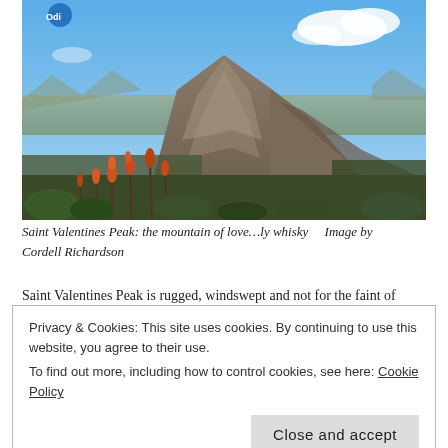[Figure (photo): Landscape photograph of Saint Valentines Peak, a rugged rocky mountain summit with orange wildflowers in the foreground and expansive plains visible in the background under a blue sky with clouds.]
Saint Valentines Peak: the mountain of love…ly whisky    Image by Cordell Richardson
Saint Valentines Peak is rugged, windswept and not for the faint of
Privacy & Cookies: This site uses cookies. By continuing to use this website, you agree to their use.
To find out more, including how to control cookies, see here: Cookie Policy
Close and accept
You can find out more about the Henny's Legacy range and purchase